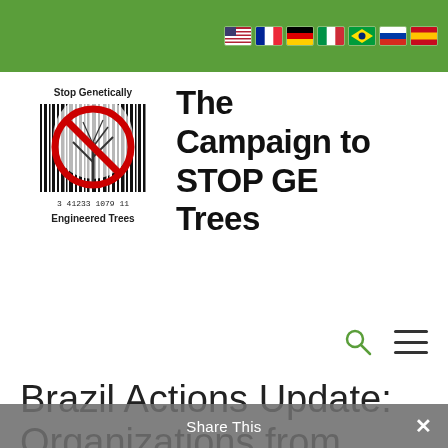[Figure (logo): Green navigation bar with country flag icons (US, France, Germany, Italy, Brazil, Russia, Spain) aligned to the right]
[Figure (logo): Campaign to STOP GE Trees logo: barcode with tree imagery inside a red no-symbol circle, text reading Stop Genetically Engineered Trees]
The Campaign to STOP GE Trees
[Figure (other): Search icon (magnifying glass) and hamburger menu icon]
Brazil Actions Update: Organizations from around the world
Share This